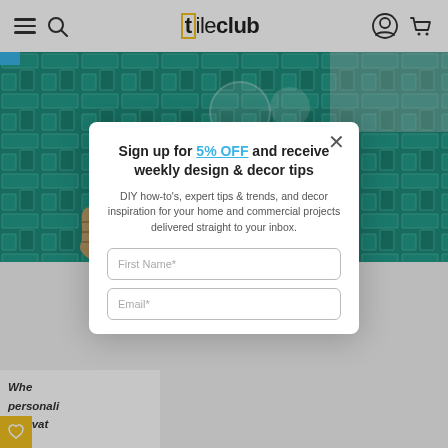[t]ileclub navigation bar with hamburger menu, search, logo, account and cart icons
[Figure (photo): Teal herringbone tile wall with round mirror and wicker basket, bathroom setting]
Sign up for 5% OFF and receive weekly design & decor tips
DIY how-to's, expert tips & trends, and decor inspiration for your home and commercial projects delivered straight to your inbox.
First Name*
Email*
Whe personali cultivat